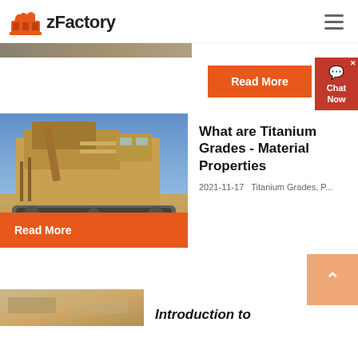zFactory
[Figure (photo): Top strip showing a sandy/earthen surface]
Read More
[Figure (photo): Large industrial mining or construction machine (yellow/tan) against blue sky in desert setting]
What are Titanium Grades - Material Properties
2021-11-17   Titanium Grades, P...
Read More
[Figure (screenshot): Chat Now widget in red]
[Figure (photo): Partial bottom strip showing rocky/earth texture]
Introduction to